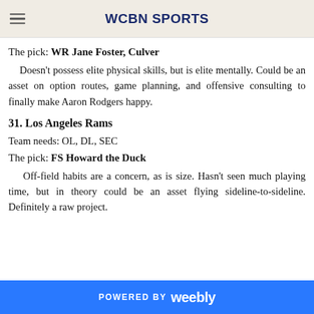WCBN SPORTS
The pick: WR Jane Foster, Culver
Doesn't possess elite physical skills, but is elite mentally. Could be an asset on option routes, game planning, and offensive consulting to finally make Aaron Rodgers happy.
31. Los Angeles Rams
Team needs: OL, DL, SEC
The pick: FS Howard the Duck
Off-field habits are a concern, as is size. Hasn't seen much playing time, but in theory could be an asset flying sideline-to-sideline. Definitely a raw project.
POWERED BY weebly